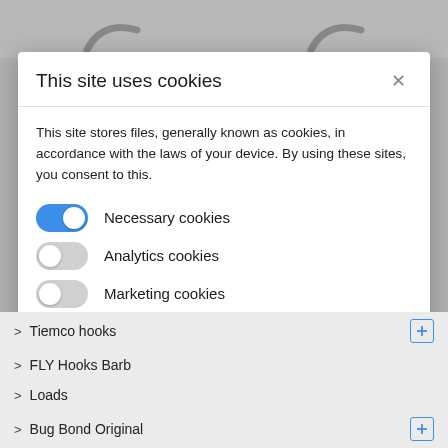[Figure (screenshot): Cookie consent modal dialog on a website. Top area shows partial logo swooshes on grey background. Modal has title 'This site uses cookies', descriptive text, three toggle switches for Necessary/Analytics/Marketing cookies, Accept all cookies button, Allow only essential cookies button, and More information link. Below modal shows a navigation menu with items: Tiemco hooks, FLY Hooks Barb, Loads, Bug Bond Original.]
This site uses cookies
This site stores files, generally known as cookies, in accordance with the laws of your device. By using these sites, you consent to this.
Necessary cookies (toggle ON)
Analytics cookies (toggle OFF)
Marketing cookies (toggle OFF)
Accept all cookies
Allow only essential cookies
More information
> Tiemco hooks
> FLY Hooks Barb
> Loads
> Bug Bond Original